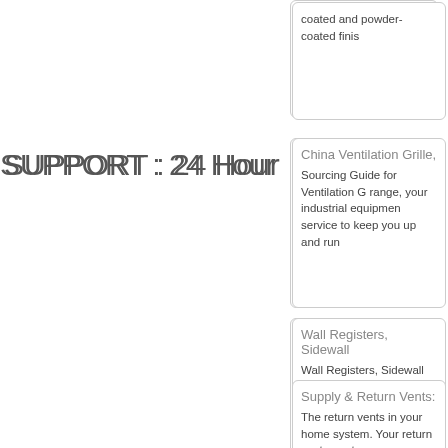coated and powder-coated finish
SUPPORT : 24 Hour
China Ventilation Grille,
Sourcing Guide for Ventilation Grille: range, your industrial equipment service to keep you up and run
Wall Registers, Sidewall
Wall Registers, Sidewall Vents from our large selection of stock your heating and cooling needs Highlights Large selection
Supply & Return Vents:
The return vents in your home system. Your return vents are t